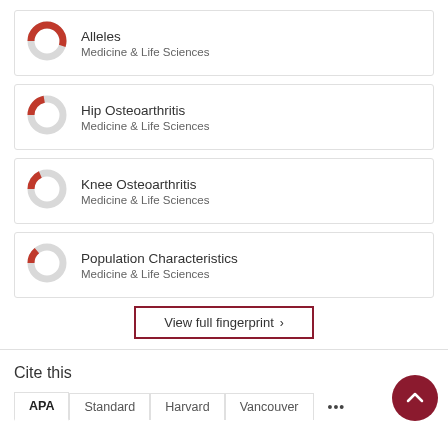[Figure (donut-chart): Donut chart icon for Alleles fingerprint item]
Alleles
Medicine & Life Sciences
[Figure (donut-chart): Donut chart icon for Hip Osteoarthritis fingerprint item]
Hip Osteoarthritis
Medicine & Life Sciences
[Figure (donut-chart): Donut chart icon for Knee Osteoarthritis fingerprint item]
Knee Osteoarthritis
Medicine & Life Sciences
[Figure (donut-chart): Donut chart icon for Population Characteristics fingerprint item]
Population Characteristics
Medicine & Life Sciences
View full fingerprint ›
Cite this
APA  Standard  Harvard  Vancouver  ...